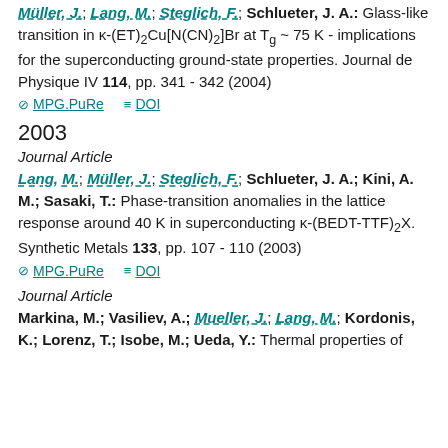Müller, J.; Lang, M.; Steglich, F.; Schlueter, J. A.: Glass-like transition in κ-(ET)₂Cu[N(CN)₂]Br at T_g ~ 75 K - implications for the superconducting ground-state properties. Journal de Physique IV 114, pp. 341 - 342 (2004)
MPG.PuRe   DOI
2003
Journal Article
Lang, M.; Müller, J.; Steglich, F.; Schlueter, J. A.; Kini, A. M.; Sasaki, T.: Phase-transition anomalies in the lattice response around 40 K in superconducting κ-(BEDT-TTF)₂X. Synthetic Metals 133, pp. 107 - 110 (2003)
MPG.PuRe   DOI
Journal Article
Markina, M.; Vasiliev, A.; Mueller, J.; Lang, M.; Kordonis, K.; Lorenz, T.; Isobe, M.; Ueda, Y.: Thermal properties of